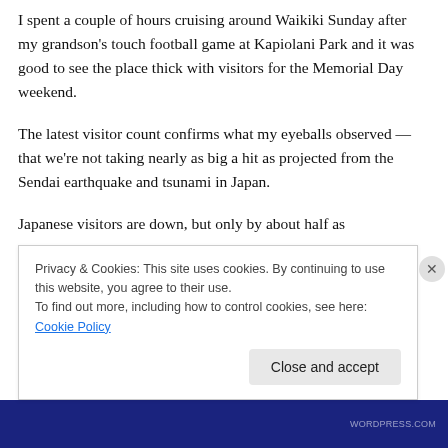I spent a couple of hours cruising around Waikiki Sunday after my grandson's touch football game at Kapiolani Park and it was good to see the place thick with visitors for the Memorial Day weekend.
The latest visitor count confirms what my eyeballs observed — that we're not taking nearly as big a hit as projected from the Sendai earthquake and tsunami in Japan.
Japanese visitors are down, but only by about half as
Privacy & Cookies: This site uses cookies. By continuing to use this website, you agree to their use.
To find out more, including how to control cookies, see here: Cookie Policy
Close and accept